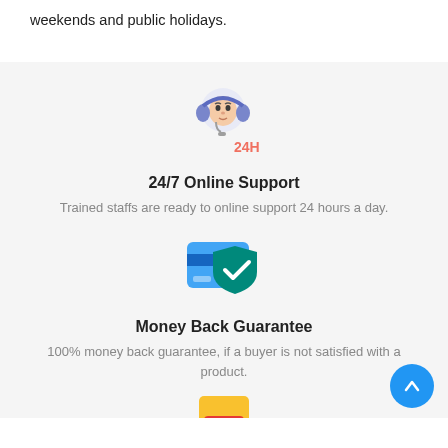weekends and public holidays.
[Figure (illustration): Customer support agent icon with headphones and '24H' text in coral/orange below]
24/7 Online Support
Trained staffs are ready to online support 24 hours a day.
[Figure (illustration): Blue credit card with green shield checkmark icon overlay]
Money Back Guarantee
100% money back guarantee, if a buyer is not satisfied with a product.
[Figure (illustration): Yellow and red electrical plug icon partially visible at bottom]